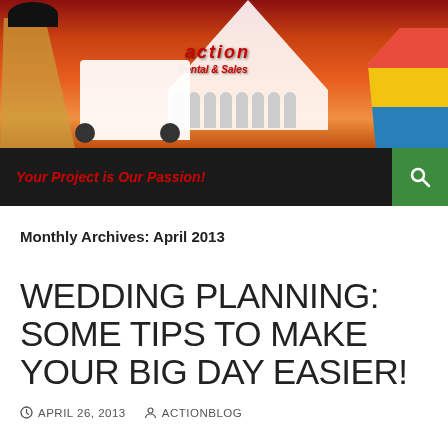[Figure (illustration): Action Rental & Sales banner image showing a woman in costume on the left, a skid steer loader, the Action Rental & Sales logo in red, a large white tent structure, and a colorful inflatable slide on the right, all against an orange/red sunset background.]
Your Project is Our Passion!
Monthly Archives: April 2013
WEDDING PLANNING: SOME TIPS TO MAKE YOUR BIG DAY EASIER!
APRIL 26, 2013   ACTIONBLOG